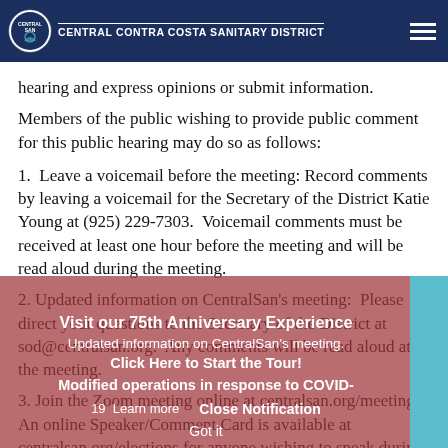Central Contra Costa Sanitary District
hearing and express opinions or submit information.
Members of the public wishing to provide public comment for this public hearing may do so as follows:
1.  Leave a voicemail before the meeting: Record comments by leaving a voicemail for the Secretary of the District Katie Young at (925) 229-7303.  Voicemail comments must be received at least one hour before the meeting and will be read aloud during the meeting.
2. Updated information on CentralSan's meeting: Please direct your questions to the Secretary of the District at sod@centralsan.org.  Any comments will be read aloud at the meeting.
3. Join the Zoom meeting online at centralsan.org/meeting.  An online Speaker/Comment Card is available at centralsan.org/elections for anyone wishing to speak during the meeting, and those wishing to
[Figure (screenshot): Notification overlay banner with dark red/rose background reading: Visit our 75th Anniversary Experience, Click Here to Start the Tour!, Modified operations in response to COVID-19, Learn more | Close Notification, Got it button. Cyan bar on right side.]